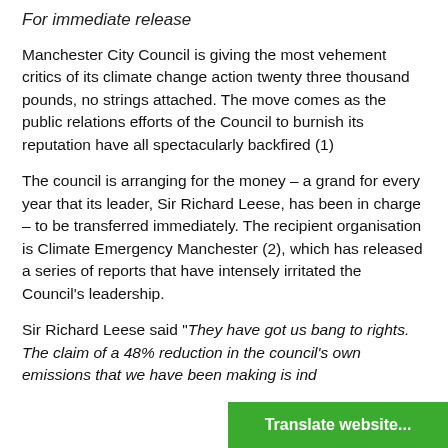For immediate release
Manchester City Council is giving the most vehement critics of its climate change action twenty three thousand pounds, no strings attached. The move comes as the public relations efforts of the Council to burnish its reputation have all spectacularly backfired (1)
The council is arranging for the money – a grand for every year that its leader, Sir Richard Leese, has been in charge – to be transferred immediately. The recipient organisation is Climate Emergency Manchester (2), which has released a series of reports that have intensely irritated the Council's leadership.
Sir Richard Leese said “They have got us bang to rights. The claim of a 48% reduction in the council’s own emissions that we have been making is ind…
Translate website...